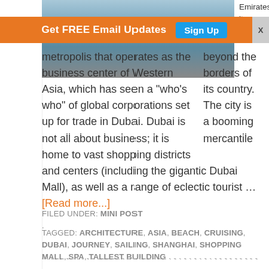[Figure (photo): Interior of Dubai Mall showing large glass ceiling atrium with people walking below]
Emirates, but its beyond the borders of its country. The city is a booming mercantile metropolis that operates as the business center of Western Asia, which has seen a "who's who" of global corporations set up for trade in Dubai. Dubai is not all about business; it is home to vast shopping districts and centers (including the gigantic Dubai Mall), as well as a range of eclectic tourist … [Read more...]
FILED UNDER: MINI POST
.
TAGGED: ARCHITECTURE, ASIA, BEACH, CRUISING, DUBAI, JOURNEY, SAILING, SHANGHAI, SHOPPING MALL, SPA, TALLEST BUILDING